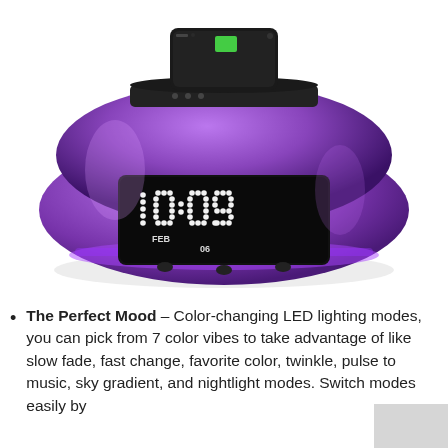[Figure (photo): A purple/violet color-changing alarm clock with LED display showing '10:09 FE3 06', with a smartphone docked on top. The clock has a rounded oval shape with glowing mood lighting.]
The Perfect Mood – Color-changing LED lighting modes, you can pick from 7 color vibes to take advantage of like slow fade, fast change, favorite color, twinkle, pulse to music, sky gradient, and nightlight modes. Switch modes easily by